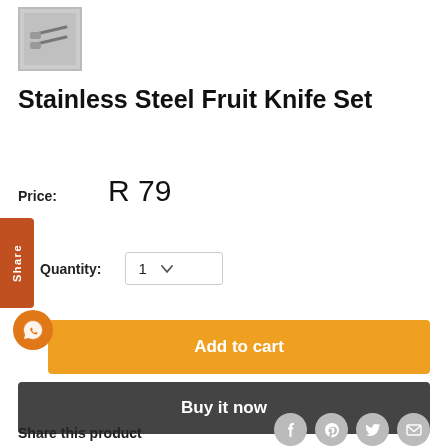[Figure (photo): Thumbnail image of stainless steel fruit knife set in a small square frame with border]
Stainless Steel Fruit Knife Set
Price:  R 79
Quantity: 1
[Figure (other): Add to cart button - orange background with white text 'Add to cart']
[Figure (other): Buy it now button - dark grey background with white text 'Buy it now']
Share this product
[Figure (other): Social sharing icons: Facebook, Pinterest, Twitter, Email - grey circles]